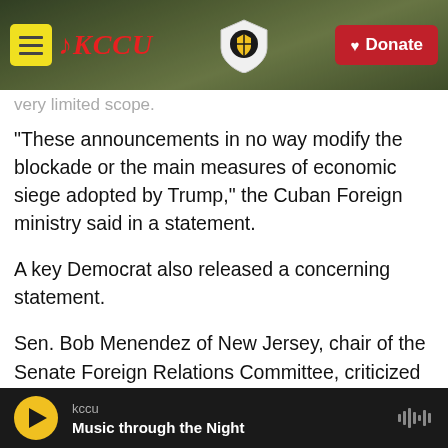[Figure (screenshot): KCCU radio website header with yellow hamburger menu button, red KCCU logo with music notes, shield logo in center, outdoor campus background photo, and red Donate button with heart icon on right]
very limited scope.
"These announcements in no way modify the blockade or the main measures of economic siege adopted by Trump," the Cuban Foreign ministry said in a statement.
A key Democrat also released a concerning statement.
Sen. Bob Menendez of New Jersey, chair of the Senate Foreign Relations Committee, criticized the decision, saying the administration was authorizing "visits akin to tourism."
kccu — Music through the Night